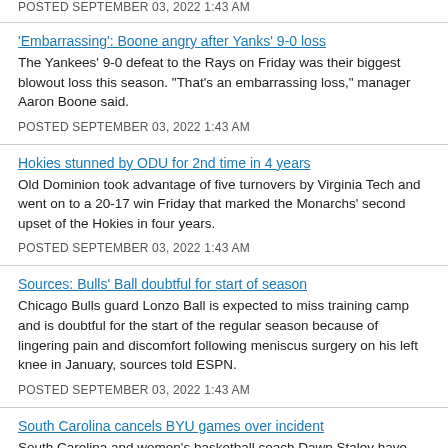POSTED SEPTEMBER 03, 2022 1:43 AM
'Embarrassing': Boone angry after Yanks' 9-0 loss
The Yankees' 9-0 defeat to the Rays on Friday was their biggest blowout loss this season. "That's an embarrassing loss," manager Aaron Boone said.
POSTED SEPTEMBER 03, 2022 1:43 AM
Hokies stunned by ODU for 2nd time in 4 years
Old Dominion took advantage of five turnovers by Virginia Tech and went on to a 20-17 win Friday that marked the Monarchs' second upset of the Hokies in four years.
POSTED SEPTEMBER 03, 2022 1:43 AM
Sources: Bulls' Ball doubtful for start of season
Chicago Bulls guard Lonzo Ball is expected to miss training camp and is doubtful for the start of the regular season because of lingering pain and discomfort following meniscus surgery on his left knee in January, sources told ESPN.
POSTED SEPTEMBER 03, 2022 1:43 AM
South Carolina cancels BYU games over incident
South Carolina and women's basketball coach Dawn Staley have canceled a home-and-home series with BYU over a recent incident where a Duke volleyball player said a Cougars fan yelled racial slurs at her.